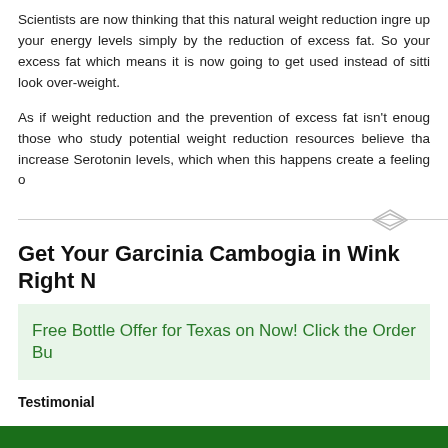Scientists are now thinking that this natural weight reduction ingre... up your energy levels simply by the reduction of excess fat. So your excess fat which means it is now going to get used instead of sitti look over-weight.
As if weight reduction and the prevention of excess fat isn't enoug those who study potential weight reduction resources believe tha increase Serotonin levels, which when this happens create a feeling o
Get Your Garcinia Cambogia in Wink Right N
Free Bottle Offer for Texas on Now! Click the Order Bu
Testimonial
Thank you very much. We tried other products from our local Wink stores but th were looking for.
Jessica H. Wink TX